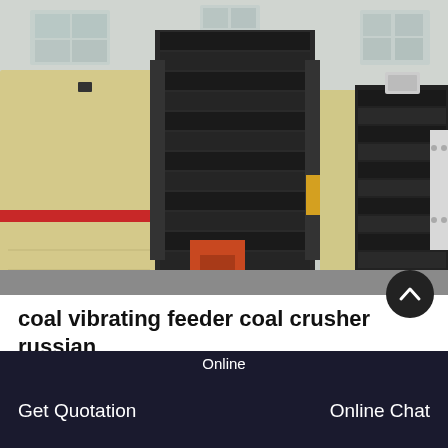[Figure (photo): Industrial vibrating feeder and coal crusher machinery in a warehouse/factory setting. Large black metal components stacked vertically in the center, cream/beige colored crusher bodies on left and right sides, orange/red structural frame visible at bottom center, industrial windows in background.]
coal vibrating feeder coal crusher russian
Vibrating Coal Crusher Pdf, Coal Screen Feeder Coal
Online   Get Quotation   Online Chat